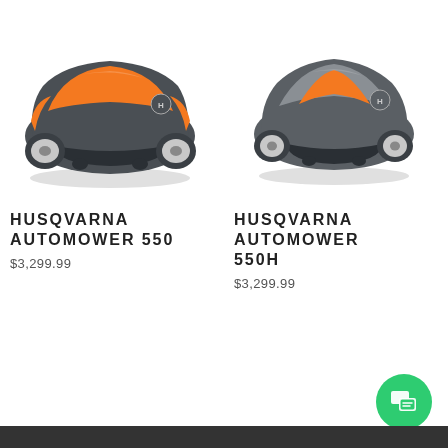[Figure (photo): Husqvarna Automower 550 robotic lawn mower, dark gray body with orange top panel, viewed from front-left angle]
HUSQVARNA AUTOMOWER 550
$3,299.99
[Figure (photo): Husqvarna Automower 550H robotic lawn mower, dark gray body with orange accent panel, viewed from front-right angle]
HUSQVARNA AUTOMOWER 550H
$3,299.99